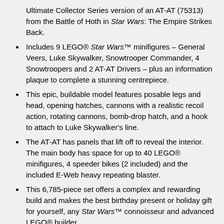Ultimate Collector Series version of an AT-AT (75313) from the Battle of Hoth in Star Wars: The Empire Strikes Back.
Includes 9 LEGO® Star Wars™ minifigures – General Veers, Luke Skywalker, Snowtrooper Commander, 4 Snowtroopers and 2 AT-AT Drivers – plus an information plaque to complete a stunning centrepiece.
This epic, buildable model features posable legs and head, opening hatches, cannons with a realistic recoil action, rotating cannons, bomb-drop hatch, and a hook to attach to Luke Skywalker's line.
The AT-AT has panels that lift off to reveal the interior. The main body has space for up to 40 LEGO® minifigures, 4 speeder bikes (2 included) and the included E-Web heavy repeating blaster.
This 6,785-piece set offers a complex and rewarding build and makes the best birthday present or holiday gift for yourself, any Star Wars™ connoisseur and advanced LEGO® builder.